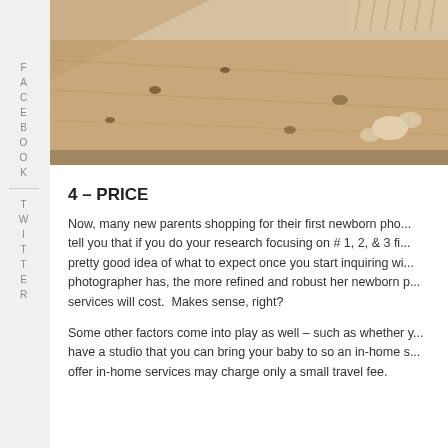[Figure (photo): Close-up photograph of sand on a beach with small rocks and debris, warm tan tones, partially visible woven object at top right corner]
4 – PRICE
Now, many new parents shopping for their first newborn pho... tell you that if you do your research focusing on # 1, 2, & 3 fi... pretty good idea of what to expect once you start inquiring wi... photographer has, the more refined and robust her newborn p... services will cost.  Makes sense, right?
Some other factors come into play as well – such as whether y... have a studio that you can bring your baby to so an in-home s... offer in-home services may charge only a small travel fee.
FACEBOOK
TWITTER